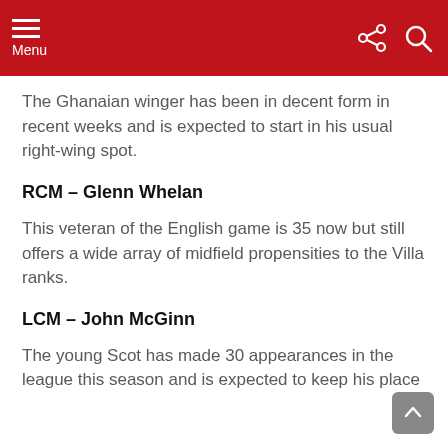Menu
The Ghanaian winger has been in decent form in recent weeks and is expected to start in his usual right-wing spot.
RCM – Glenn Whelan
This veteran of the English game is 35 now but still offers a wide array of midfield propensities to the Villa ranks.
LCM – John McGinn
The young Scot has made 30 appearances in the league this season and is expected to keep his place